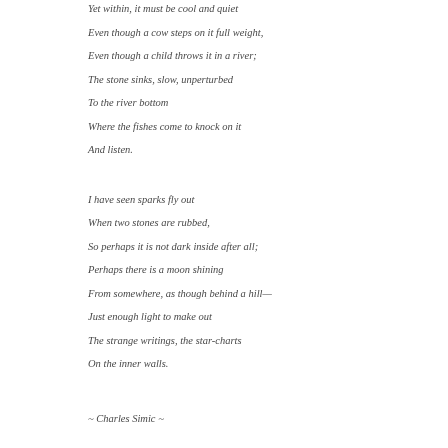Yet within, it must be cool and quiet
Even though a cow steps on it full weight,
Even though a child throws it in a river;
The stone sinks, slow, unperturbed
To the river bottom
Where the fishes come to knock on it
And listen.
I have seen sparks fly out
When two stones are rubbed,
So perhaps it is not dark inside after all;
Perhaps there is a moon shining
From somewhere, as though behind a hill—
Just enough light to make out
The strange writings, the star-charts
On the inner walls.
~ Charles Simic ~